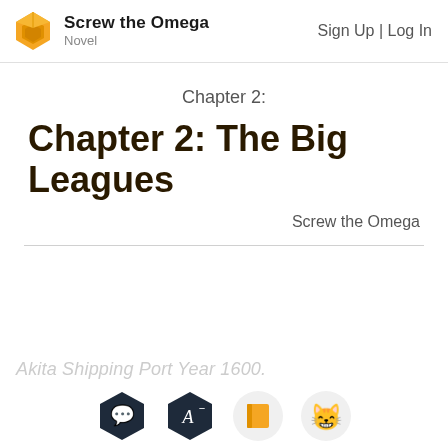Screw the Omega | Novel | Sign Up | Log In
Chapter 2:
Chapter 2: The Big Leagues
Screw the Omega
Akita Shipping Port Year 1600.
[Figure (other): Bottom toolbar with four icons: speech bubble, letter A with minus, book/orange square, and smiling cat emoji, on dark hexagon and light circle backgrounds]